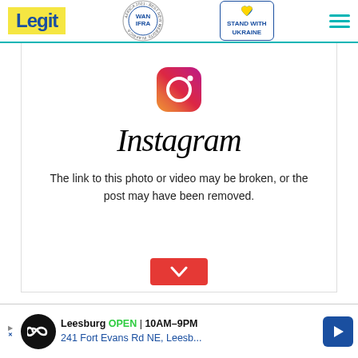Legit | WAN-IFRA 2021 Best News Website in Africa | Stand with Ukraine
[Figure (screenshot): Instagram embedded post error screen showing Instagram logo icon and wordmark with broken link message]
The link to this photo or video may be broken, or the post may have been removed.
[Figure (infographic): Advertisement banner: Leesburg OPEN 10AM-9PM, 241 Fort Evans Rd NE, Leesb...]